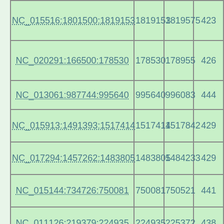| NC_015516:1801500:1819153 | 1819153 | 1819575 | 423 |
| NC_020291:166500:178530 | 178530 | 178955 | 426 |
| NC_013061:987744:995640 | 995640 | 996083 | 444 |
| NC_015913:1491393:1517414 | 1517414 | 1517842 | 429 |
| NC_017294:1457262:1483805 | 1483805 | 1484233 | 429 |
| NC_015144:734726:750081 | 750081 | 750521 | 441 |
| NC_011126:219379:224935 | 224935 | 225372 | 438 |